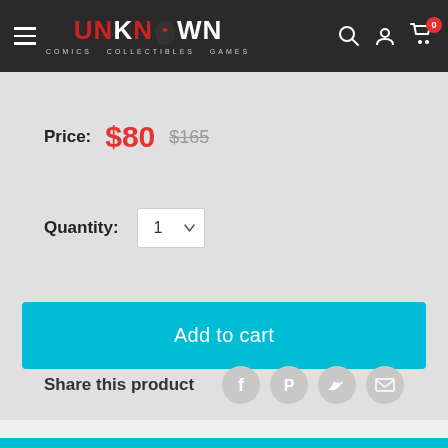Unknown Comics Collectibles Games - navigation header
Price: $80  $165
Quantity: 1
Add to cart
Share this product